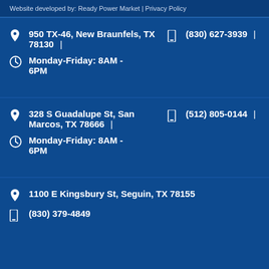Website developed by: Ready Power Market | Privacy Policy
950 TX-46, New Braunfels, TX 78130 | (830) 627-3939 | Monday-Friday: 8AM - 6PM
328 S Guadalupe St, San Marcos, TX 78666 | (512) 805-0144 | Monday-Friday: 8AM - 6PM
1100 E Kingsbury St, Seguin, TX 78155 | (830) 379-4849